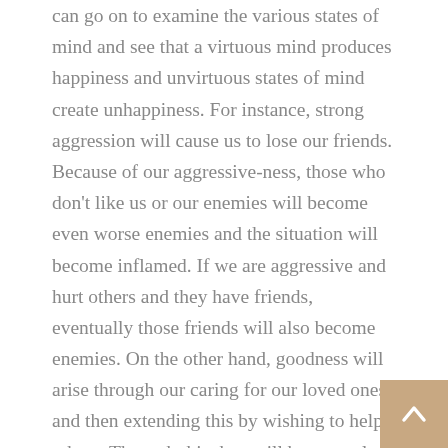can go on to examine the various states of mind and see that a virtuous mind produces happiness and unvirtuous states of mind create unhappiness. For instance, strong aggression will cause us to lose our friends. Because of our aggressive-ness, those who don't like us or our enemies will become even worse enemies and the situation will become inflamed. If we are aggressive and hurt others and they have friends, eventually those friends will also become enemies. On the other hand, goodness will arise through our caring for our loved ones and then extending this by wishing to help others. Through this they will become close and helpful friends. Through the power of our love and care, our enemies and people we don't get along with will improve their behavior and maybe those enemies will eventually become friends. If we have companions and wish to benefit others, we can end up with very good friends and